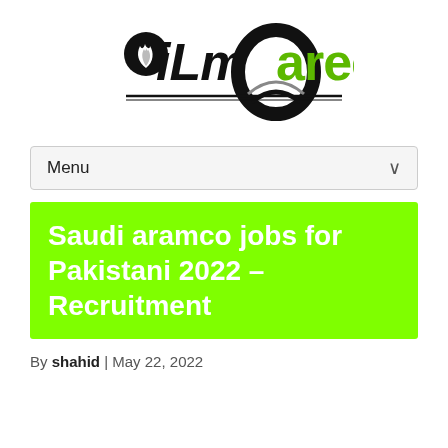[Figure (logo): iLmCareer logo with flame icon and circular swoosh, text 'iLm' in black and 'career' in green]
Menu
Saudi aramco jobs for Pakistani 2022 – Recruitment
By shahid | May 22, 2022